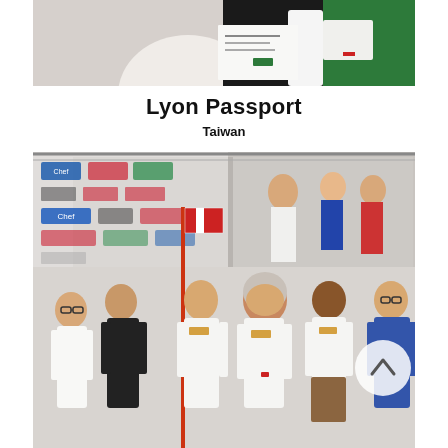[Figure (photo): A person in white chef uniform holding a certificate or award plaque, event backdrop visible in background with green branding.]
Lyon Passport
Taiwan
[Figure (photo): Group of people on a stage at a culinary or food competition event. A person in chef whites holds a red and white flag. Sponsors' logos are visible on a banner behind them. A man in a blue shirt stands on the right. A navigation up-arrow circle button is overlaid on the right side.]